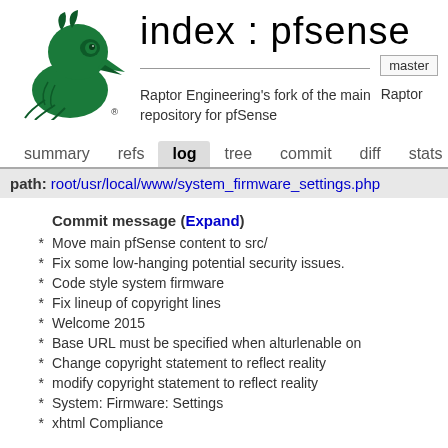[Figure (logo): Green hawk/falcon head logo facing right, Raptor Engineering logo]
index : pfsense
master
Raptor Engineering's fork of the main repository for pfSense
Raptor
summary   refs   log   tree   commit   diff   stats   log
path: root/usr/local/www/system_firmware_settings.php
| * | Commit message (Expand) |
| --- | --- |
| * | Move main pfSense content to src/ |
| * | Fix some low-hanging potential security issues. |
| * | Code style system firmware |
| * | Fix lineup of copyright lines |
| * | Welcome 2015 |
| * | Base URL must be specified when alturlenable on |
| * | Change copyright statement to reflect reality |
| * | modify copyright statement to reflect reality |
| * | System: Firmware: Settings |
| * | xhtml Compliance |